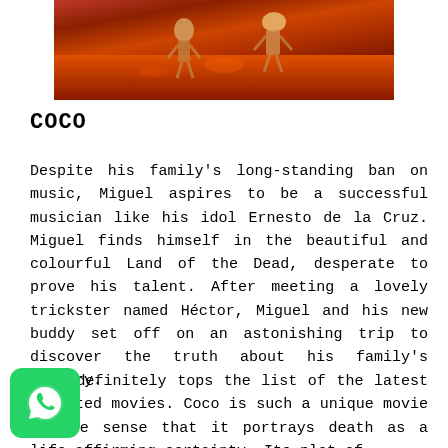[Figure (photo): Movie still from Coco showing animated characters on a reddish-orange landscape]
COCO
Despite his family's long-standing ban on music, Miguel aspires to be a successful musician like his idol Ernesto de la Cruz. Miguel finds himself in the beautiful and colourful Land of the Dead, desperate to prove his talent. After meeting a lovely trickster named Héctor, Miguel and his new buddy set off on an astonishing trip to discover the truth about his family's history.
Coco definitely tops the list of the latest animated movies. Coco is such a unique movie in the sense that it portrays death as a life-affirming certainty. Its plot of